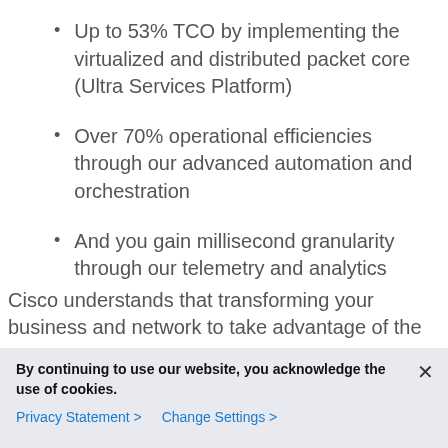Up to 53% TCO by implementing the virtualized and distributed packet core (Ultra Services Platform)
Over 70% operational efficiencies through our advanced automation and orchestration
And you gain millisecond granularity through our telemetry and analytics
Cisco understands that transforming your business and network to take advantage of the
By continuing to use our website, you acknowledge the use of cookies.
Privacy Statement > Change Settings >